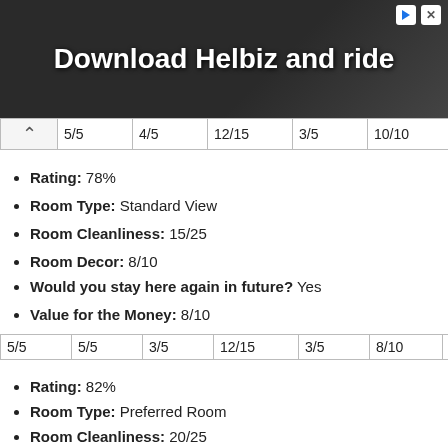[Figure (photo): Advertisement banner with dark background showing person with camera equipment, text 'Download Helbiz and ride' in white bold font]
| 5/5 | 4/5 | 12/15 | 3/5 | 10/10 | 8/10 |
Rating: 78%
Room Type: Standard View
Room Cleanliness: 15/25
Room Decor: 8/10
Would you stay here again in future? Yes
Value for the Money: 8/10
| 5/5 | 5/5 | 3/5 | 12/15 | 3/5 | 8/10 | 8/10 |
Rating: 82%
Room Type: Preferred Room
Room Cleanliness: 20/25
Room Decor: 8/10
Would you stay here again in future? Maybe
Value for the Money: 10/10
Overall Impression: it was very good for the money (for